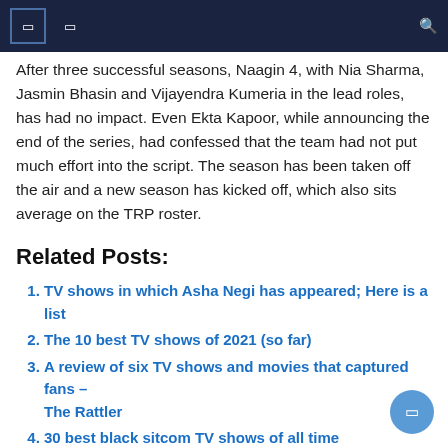[navigation bar with icons and search]
After three successful seasons, Naagin 4, with Nia Sharma, Jasmin Bhasin and Vijayendra Kumeria in the lead roles, has had no impact. Even Ekta Kapoor, while announcing the end of the series, had confessed that the team had not put much effort into the script. The season has been taken off the air and a new season has kicked off, which also sits average on the TRP roster.
Related Posts:
TV shows in which Asha Negi has appeared; Here is a list
The 10 best TV shows of 2021 (so far)
A review of six TV shows and movies that captured fans – The Rattler
30 best black sitcom TV shows of all time